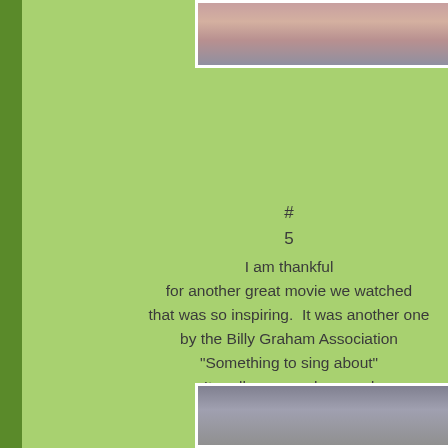[Figure (photo): Partial photo at top showing cloudy/sunset sky, cropped, white border]
#
5
I am thankful for another great movie we watched that was so inspiring.  It was another one by the Billy Graham Association called "Something to sing about" It really was such a good
[Figure (photo): Partial photo at bottom showing grey sky/mountain scene, cropped, white border]